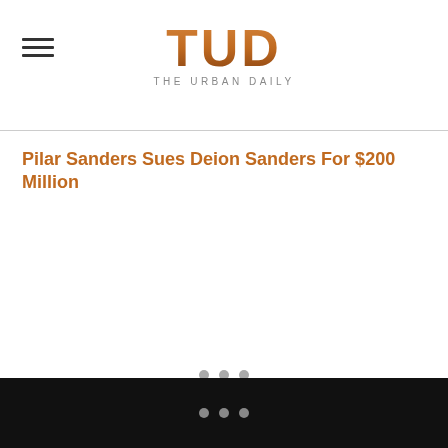TUD THE URBAN DAILY
Pilar Sanders Sues Deion Sanders For $200 Million